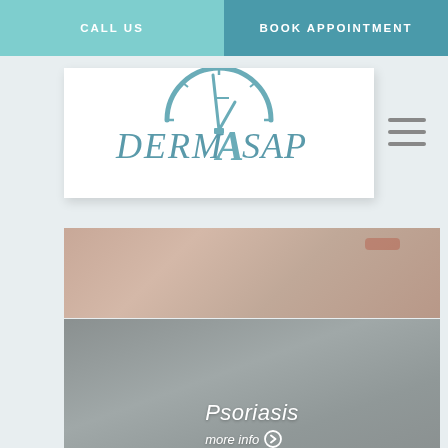CALL US
BOOK APPOINTMENT
[Figure (logo): DermAsap logo with clock/speedometer graphic above the text DERMASAP]
[Figure (photo): Close-up photo of hands showing skin condition, redness visible]
[Figure (photo): Side profile photo of a woman with curly hair scratching her hand, Psoriasis label with more info link]